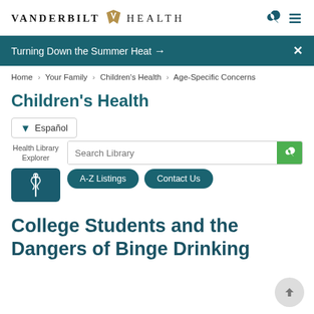VANDERBILT HEALTH
Turning Down the Summer Heat →
Home > Your Family > Children's Health > Age-Specific Concerns
Children's Health
Español
Health Library Explorer
Search Library
A-Z Listings
Contact Us
College Students and the Dangers of Binge Drinking